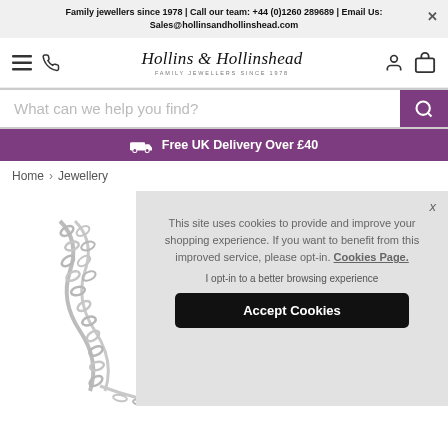Family jewellers since 1978 | Call our team: +44 (0)1260 289689 | Email Us: Sales@hollinsandhollinshead.com
[Figure (logo): Hollins & Hollinshead jewellers logo with tagline 'Family Jewellers Since 1978']
What can we help you find?
Free UK Delivery Over £40
Home > Jewellery
[Figure (photo): Silver chain bracelet/necklace jewellery product image]
This site uses cookies to provide and improve your shopping experience. If you want to benefit from this improved service, please opt-in. Cookies Page.
I opt-in to a better browsing experience
Accept Cookies